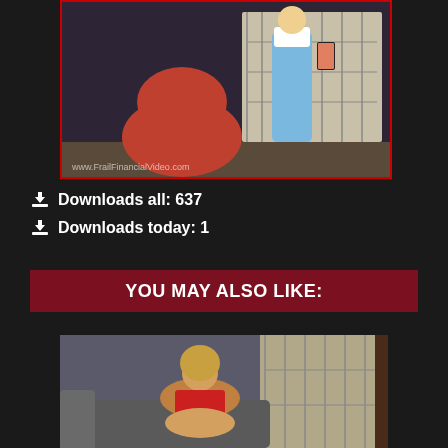[Figure (photo): Video thumbnail showing a blonde woman in blue shiny leggings and white crop top holding a phone, with another person kneeling in front of her. Website watermark visible at bottom left.]
Downloads all: 637
Downloads today: 1
YOU MAY ALSO LIKE:
[Figure (photo): Video thumbnail showing a young blonde woman in a red top sitting on a gray couch, with shoji screen room dividers in the background.]